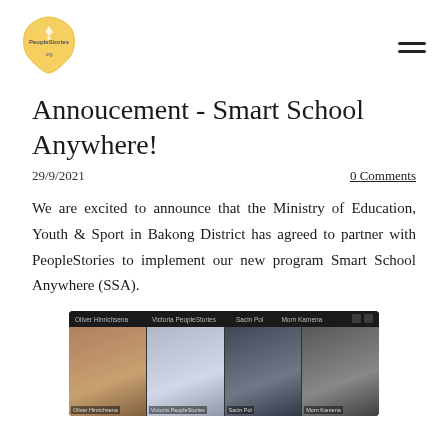[Figure (logo): PeopleStories logo - hexagonal yellow badge with bird/star icon and text PeopleStories]
Annoucement - Smart School Anywhere!
29/9/2021
0 Comments
We are excited to announce that the Ministry of Education, Youth & Sport in Bakong District has agreed to partner with PeopleStories to implement our new program Smart School Anywhere (SSA).
[Figure (screenshot): Video conference screenshot showing four participants in a grid: Oliver Hinrichsena, Victoria PeopleStories, Sacin Pol, Morn Kamena]